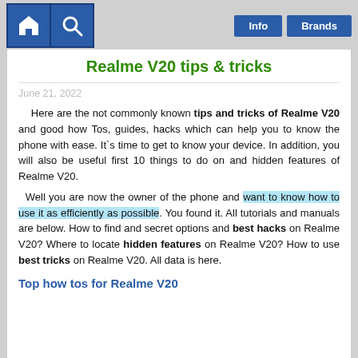Info | Brands
Realme V20 tips & tricks
June 21, 2022
Here are the not commonly known tips and tricks of Realme V20 and good how Tos, guides, hacks which can help you to know the phone with ease. It`s time to get to know your device. In addition, you will also be useful first 10 things to do on and hidden features of Realme V20.
Well you are now the owner of the phone and want to know how to use it as efficiently as possible. You found it. All tutorials and manuals are below. How to find and secret options and best hacks on Realme V20? Where to locate hidden features on Realme V20? How to use best tricks on Realme V20. All data is here.
Top how tos for Realme V20